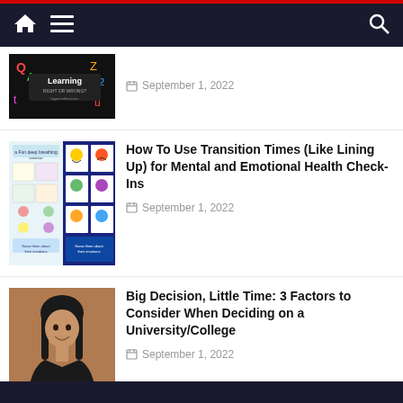Navigation bar with home, menu, and search icons
[Figure (screenshot): Thumbnail image showing 'Learning RIGHT OR WRONG' text on dark background with colorful letters]
September 1, 2022
[Figure (photo): Thumbnail collage of classroom materials including emotional check-in cards and breathing exercise charts]
How To Use Transition Times (Like Lining Up) for Mental and Emotional Health Check-Ins
September 1, 2022
[Figure (photo): Photo of a young woman with long dark hair smiling, wearing a dark jacket, against a brown background]
Big Decision, Little Time: 3 Factors to Consider When Deciding on a University/College
September 1, 2022